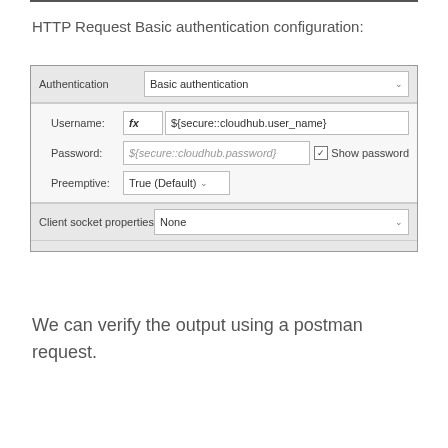HTTP Request Basic authentication configuration:
[Figure (screenshot): Screenshot of HTTP Request Basic authentication configuration panel showing fields: Authentication set to 'Basic authentication', Username with fx button and value '${secure::cloudhub.user_name}', Password with value '${secure::cloudhub.password}' and a 'Show password' checkbox, Preemptive set to 'True (Default)', and Client socket properties set to 'None'.]
We can verify the output using a postman request.